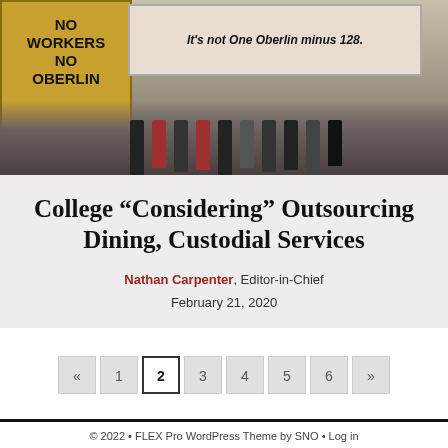[Figure (photo): Protesters holding signs reading 'No Workers No Oberlin' and 'It's not One Oberlin minus 128' at an indoor demonstration.]
College “Considering” Outsourcing Dining, Custodial Services
Nathan Carpenter, Editor-in-Chief
February 21, 2020
© 2022 • FLEX Pro WordPress Theme by SNO • Log in